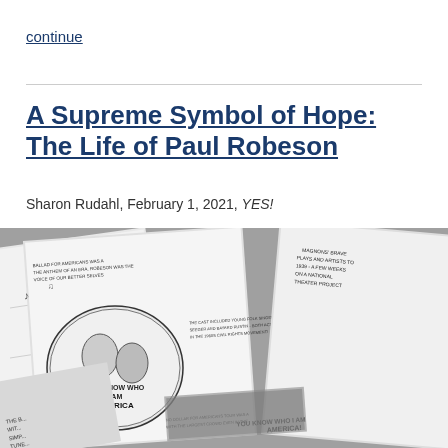continue
A Supreme Symbol of Hope: The Life of Paul Robeson
Sharon Rudahl, February 1, 2021, YES!
[Figure (illustration): Black and white comic book style illustration pages of Paul Robeson's life story, showing panels with text and drawings, spread out overlapping each other. Visible text includes 'YOU KNOW WHO I AM AMERICA' and references to folk singer Pete Seeger and Bayard Rustin, civil rights movement, and theatrical performances.]